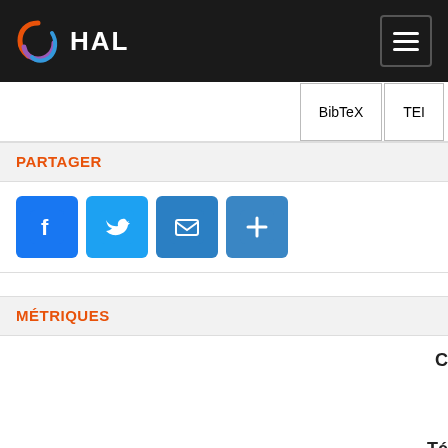HAL
BibTeX  TEI
PARTAGER
[Figure (other): Social sharing icons: Facebook, Twitter, Email, and More (+) buttons]
MÉTRIQUES
C  Té